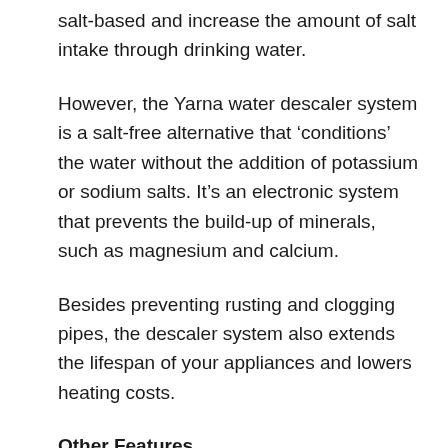salt-based and increase the amount of salt intake through drinking water.
However, the Yarna water descaler system is a salt-free alternative that ‘conditions’ the water without the addition of potassium or sodium salts. It’s an electronic system that prevents the build-up of minerals, such as magnesium and calcium.
Besides preventing rusting and clogging pipes, the descaler system also extends the lifespan of your appliances and lowers heating costs.
Other Features